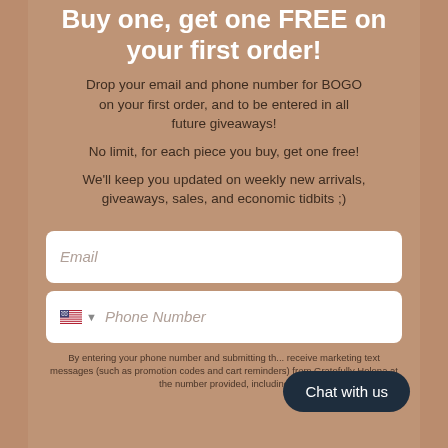Buy one, get one FREE on your first order!
Drop your email and phone number for BOGO on your first order, and to be entered in all future giveaways!
No limit, for each piece you buy, get one free!
We'll keep you updated on weekly new arrivals, giveaways, sales, and economic tidbits ;)
Email
Phone Number
Chat with us
By entering your phone number and submitting th... receive marketing text messages (such as promotion codes and cart reminders) from Gratefully Helena at the number provided, including